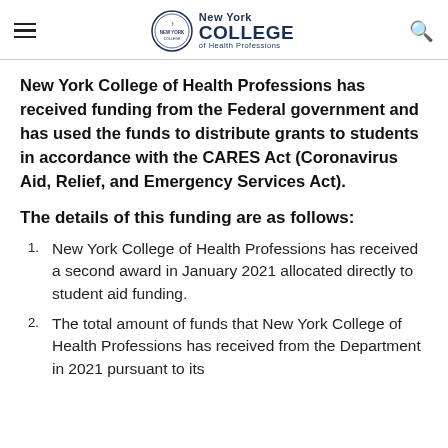New York College of Health Professions
New York College of Health Professions has received funding from the Federal government and has used the funds to distribute grants to students in accordance with the CARES Act (Coronavirus Aid, Relief, and Emergency Services Act).
The details of this funding are as follows:
New York College of Health Professions has received a second award in January 2021 allocated directly to student aid funding.
The total amount of funds that New York College of Health Professions has received from the Department in 2021 pursuant to its